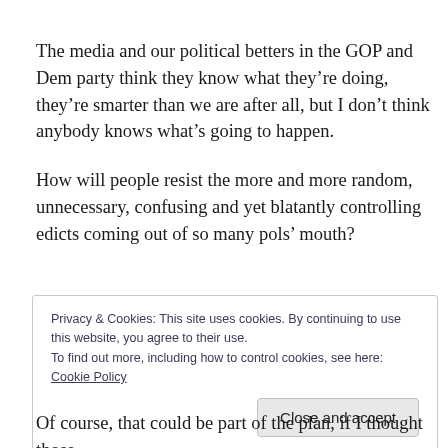The media and our political betters in the GOP and Dem party think they know what they’re doing, they’re smarter than we are after all, but I don’t think anybody knows what’s going to happen.
How will people resist the more and more random, unnecessary, confusing and yet blatantly controlling edicts coming out of so many pols’ mouth?
Privacy & Cookies: This site uses cookies. By continuing to use this website, you agree to their use.
To find out more, including how to control cookies, see here: Cookie Policy
[Close and accept]
Of course, that could be part of the plan, if I thought those